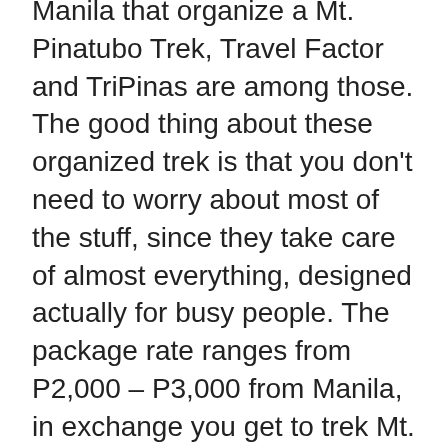Manila that organize a Mt. Pinatubo Trek, Travel Factor and TriPinas are among those. The good thing about these organized trek is that you don't need to worry about most of the stuff, since they take care of almost everything, designed actually for busy people. The package rate ranges from P2,000 – P3,000 from Manila, in exchange you get to trek Mt. Pinatubo less the hassle of organizing it and you gain travel friends from fellow joiners.
Mt. Pinatubo Town Spa on the other hand offers a local rate of P1500 from Sta. Juliana for the package, it includes 4×4 rental via Skyway, toll fee, conservation fee, a local